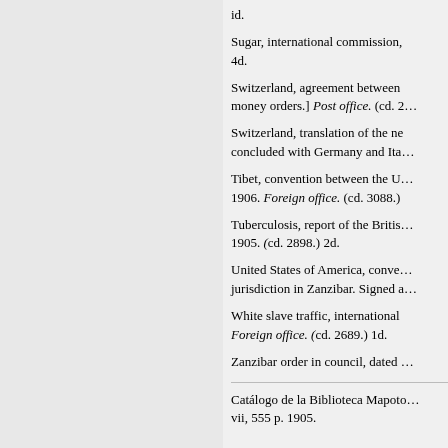id.
Sugar, international commission, 4d.
Switzerland, agreement between money orders.] Post office. (cd. 2…
Switzerland, translation of the ne… concluded with Germany and Ita…
Tibet, convention between the U… 1906. Foreign office. (cd. 3088.)
Tuberculosis, report of the Britis… 1905. (cd. 2898.) 2d.
United States of America, conve… jurisdiction in Zanzibar. Signed a…
White slave traffic, international… Foreign office. (cd. 2689.) 1d.
Zanzibar order in council, dated …
Catálogo de la Biblioteca Mapoto… vii, 555 p. 1905.